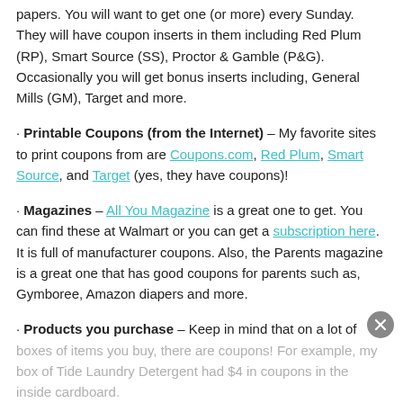papers. You will want to get one (or more) every Sunday. They will have coupon inserts in them including Red Plum (RP), Smart Source (SS), Proctor & Gamble (P&G). Occasionally you will get bonus inserts including, General Mills (GM), Target and more.
· Printable Coupons (from the Internet) – My favorite sites to print coupons from are Coupons.com, Red Plum, Smart Source, and Target (yes, they have coupons)!
· Magazines – All You Magazine is a great one to get. You can find these at Walmart or you can get a subscription here. It is full of manufacturer coupons. Also, the Parents magazine is a great one that has good coupons for parents such as, Gymboree, Amazon diapers and more.
· Products you purchase – Keep in mind that on a lot of boxes of items you buy, there are coupons! For example, my box of Tide Laundry Detergent had $4 in coupons in the inside cardboard.